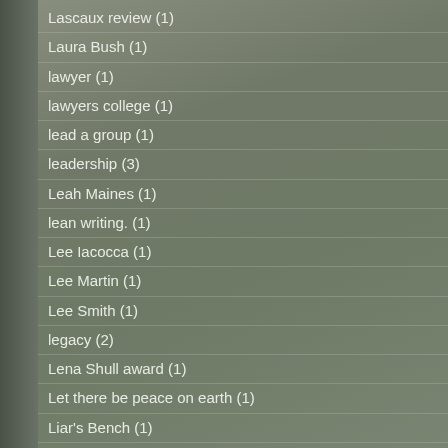Lascaux review (1)
Laura Bush (1)
lawyer (1)
lawyers college (1)
lead a group (1)
leadership (3)
Leah Maines (1)
lean writing. (1)
Lee Iacocca (1)
Lee Martin (1)
Lee Smith (1)
legacy (2)
Lena Shull award (1)
Let there be peace on earth (1)
Liar's Bench (1)
Liars Bench (2)
life (1)
life changing moments (1)
Life Outside the Set (1)